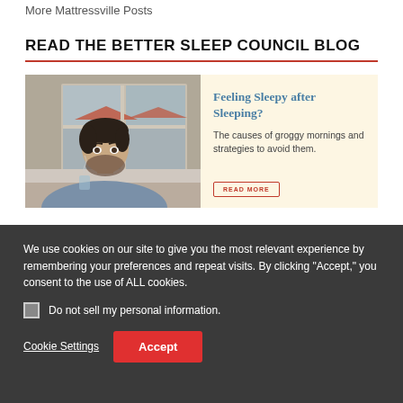More Mattressville Posts
READ THE BETTER SLEEP COUNCIL BLOG
[Figure (photo): A tired-looking young man with dark hair and beard, leaning on a table holding a glass, near a window with buildings visible outside.]
Feeling Sleepy after Sleeping?
The causes of groggy mornings and strategies to avoid them.
READ MORE
We use cookies on our site to give you the most relevant experience by remembering your preferences and repeat visits. By clicking "Accept," you consent to the use of ALL cookies.
Do not sell my personal information.
Cookie Settings
Accept